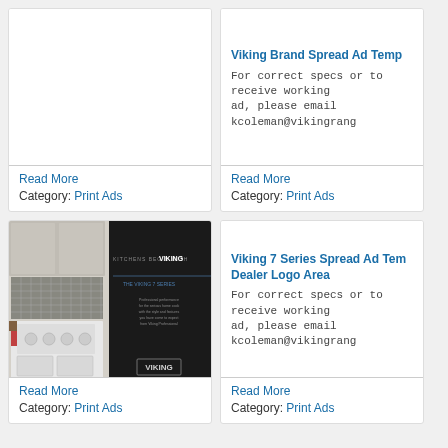[Figure (photo): Empty white card area (top-left, no image visible)]
Read More
Category: Print Ads
Viking Brand Spread Ad Temp
For correct specs or to receive working ad, please email kcoleman@vikingrang
Read More
Category: Print Ads
[Figure (photo): Viking kitchen spread ad showing white professional range in kitchen with 'Kitchens Begin With Viking' text on dark background]
Read More
Category: Print Ads
Viking 7 Series Spread Ad Tem Dealer Logo Area
For correct specs or to receive working ad, please email kcoleman@vikingrang
Read More
Category: Print Ads